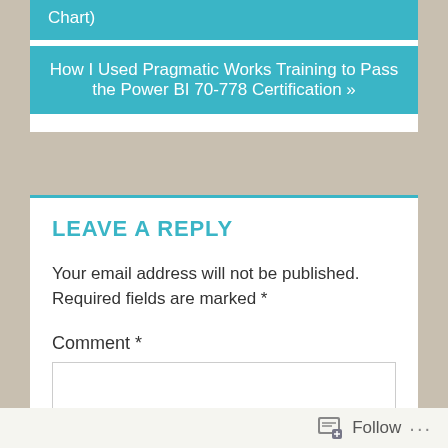Chart)
How I Used Pragmatic Works Training to Pass the Power BI 70-778 Certification »
LEAVE A REPLY
Your email address will not be published. Required fields are marked *
Comment *
Follow ...